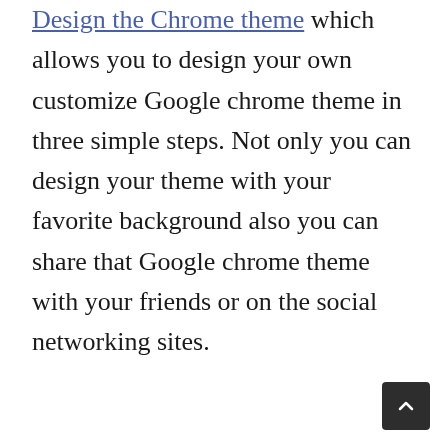…Design the Chrome theme… which allows you to design your own customize Google chrome theme in three simple steps. Not only you can design your theme with your favorite background also you can share that Google chrome theme with your friends or on the social networking sites.